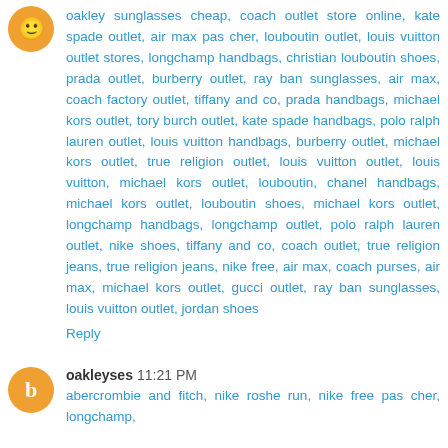oakley sunglasses cheap, coach outlet store online, kate spade outlet, air max pas cher, louboutin outlet, louis vuitton outlet stores, longchamp handbags, christian louboutin shoes, prada outlet, burberry outlet, ray ban sunglasses, air max, coach factory outlet, tiffany and co, prada handbags, michael kors outlet, tory burch outlet, kate spade handbags, polo ralph lauren outlet, louis vuitton handbags, burberry outlet, michael kors outlet, true religion outlet, louis vuitton outlet, louis vuitton, michael kors outlet, louboutin, chanel handbags, michael kors outlet, louboutin shoes, michael kors outlet, longchamp handbags, longchamp outlet, polo ralph lauren outlet, nike shoes, tiffany and co, coach outlet, true religion jeans, true religion jeans, nike free, air max, coach purses, air max, michael kors outlet, gucci outlet, ray ban sunglasses, louis vuitton outlet, jordan shoes
Reply
oakleyses 11:21 PM
abercrombie and fitch, nike roshe run, nike free pas cher, longchamp, ...